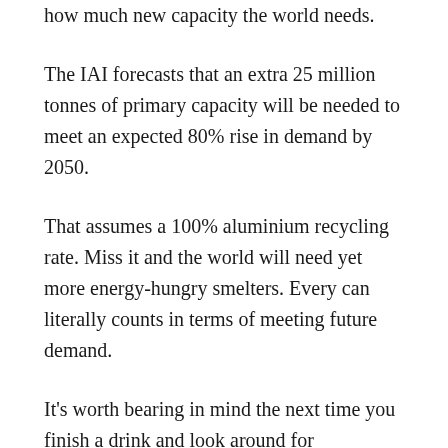how much new capacity the world needs.
The IAI forecasts that an extra 25 million tonnes of primary capacity will be needed to meet an expected 80% rise in demand by 2050.
That assumes a 100% aluminium recycling rate. Miss it and the world will need yet more energy-hungry smelters. Every can literally counts in terms of meeting future demand.
It’s worth bearing in mind the next time you finish a drink and look around for somewhere to throw the can. Particularly if you’re in the aluminium business.